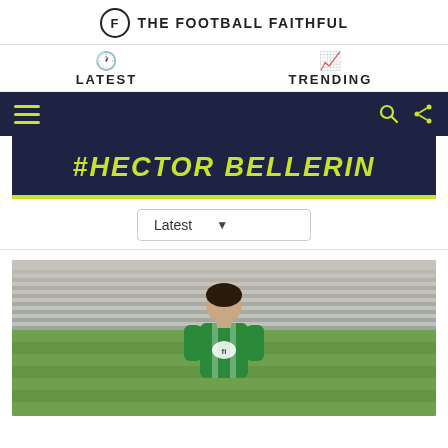THE FOOTBALL FAITHFUL
LATEST
TRENDING
#HECTOR BELLERIN
Latest
[Figure (photo): Hector Bellerin in a Real Betis green and white striped jersey, standing in front of stadium stands]